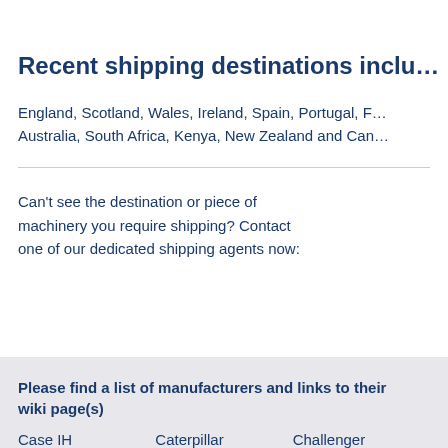Recent shipping destinations inclu…
England, Scotland, Wales, Ireland, Spain, Portugal, F… Australia, South Africa, Kenya, New Zealand and Can…
Can't see the destination or piece of machinery you require shipping? Contact one of our dedicated shipping agents now:
Please find a list of manufacturers and links to their wiki page(s)
Case IH     Caterpillar     Challenger